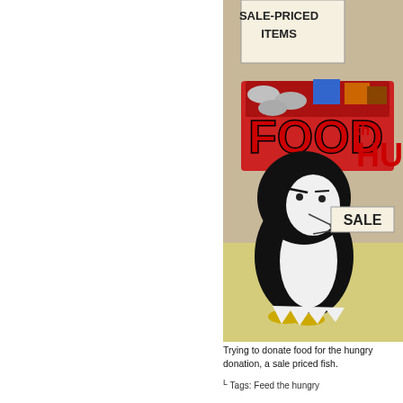[Figure (illustration): Cartoon penguin looking thoughtful/puzzled, standing in front of a red box labeled 'FOOD the HUN[GRY]' containing canned goods and other food items. A sign reads 'SALE-PRICED ITEMS' and a small sign reads 'SALE'. The scene is set on a yellow floor against a tan background.]
Trying to donate food for the hungry donation, a sale priced fish.
↳ Tags: Feed the hungry